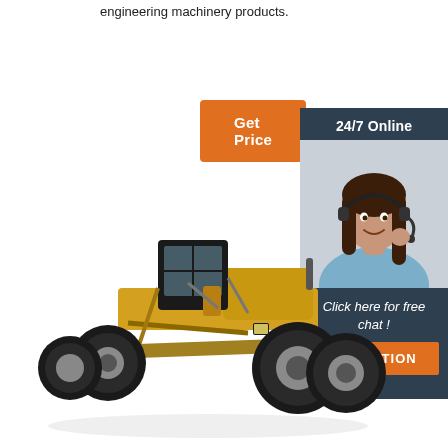engineering machinery products.
[Figure (other): Orange 'Get Price' button]
[Figure (infographic): Sidebar with '24/7 Online' header, customer service representative photo with headset, 'Click here for free chat!' text, and orange 'QUOTATION' button on dark blue background]
[Figure (photo): Yellow motor grader / engineering machinery (construction equipment) photographed on white background]